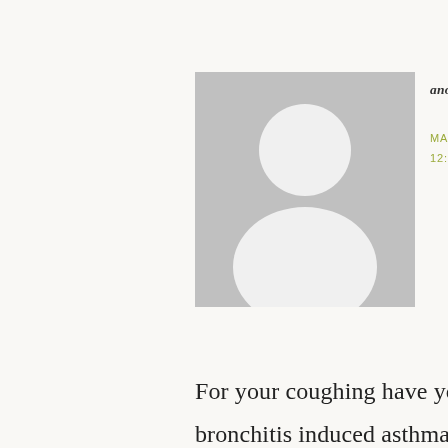[Figure (illustration): Generic anonymous user avatar: grey square background with white silhouette of a person (circle head, rounded shoulders)]
anonymous says
MARCH 10, 2009 AT 12:02 PM
For your coughing have you tried Delsym? I had bronchitis and bronchitis induced asthma (never heard of this before!) and the pharmacist recommended Delsym. I was well on the mend but at times could not stop coughing. It stopped my cough